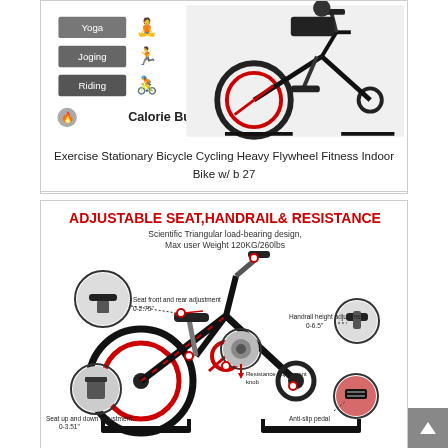[Figure (illustration): Product listing image of an exercise stationary bike showing calorie burning activities (Yoga, Joging, Riding) infographic on the left and the actual black/red indoor cycling bike on the right.]
Exercise Stationary Bicycle Cycling Heavy Flywheel Fitness Indoor Bike w/ b 27
[Figure (infographic): Product infographic titled 'ADJUSTABLE SEAT, HANDRAIL & RESISTANCE' showing a black and red indoor cycling bike with labeled callouts: Seat front and rear adjustment 0-2.75 inch, Seat up and down adjustment 0-3.51 inch, Resistance adjustment knob, Handrail height adjustment 0-6.5 inch, Anti-slip pedal. Text: Scientific Triangular load-bearing design, Max user Weight 120KG/260lbs]